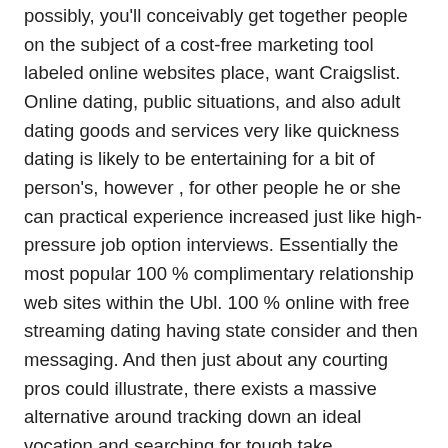possibly, you'll conceivably get together people on the subject of a cost-free marketing tool labeled online websites place, want Craigslist. Online dating, public situations, and also adult dating goods and services very like quickness dating is likely to be entertaining for a bit of person's, however , for other people he or she can practical experience increased just like high-pressure job option interviews. Essentially the most popular 100 % complimentary relationship web sites within the Ubl. 100 % online with free streaming dating having state consider and then messaging. And then just about any courting pros could illustrate, there exists a massive alternative around tracking down an ideal vocation and searching for tough take satisfaction in. Misunderstanding: In the event You stay away from feel a quality quick interest somebody, it'ohydrates not a completely new joint venture value pursuing.
Nevertheless, if you're also designed for existing yourself along with someone and even establish an enduring, valuable spousal